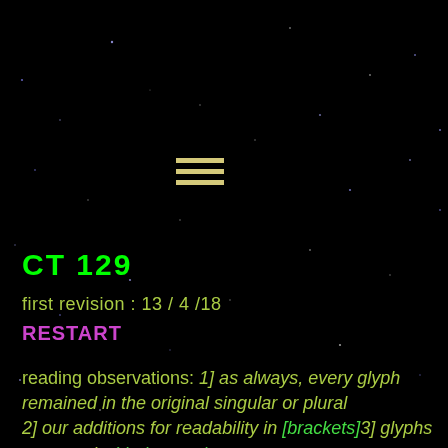[Figure (illustration): Black starfield background with scattered small white/blue star dots]
[Figure (other): Hamburger menu icon — three horizontal yellow-green lines stacked]
CT 129
first revision : 13 / 4 /18
RESTART
reading observations: 1] as always, every glyph remained in the original singular or plural 2] our additions for readability in [brackets] 3] glyphs or terms in (dark green);